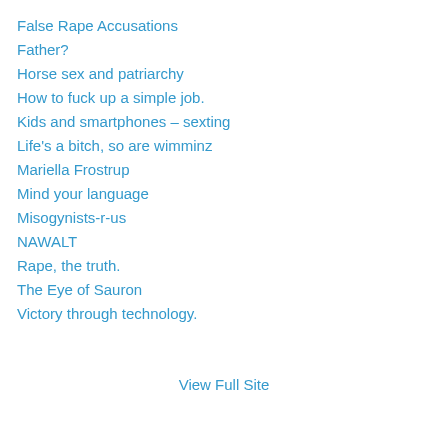False Rape Accusations
Father?
Horse sex and patriarchy
How to fuck up a simple job.
Kids and smartphones – sexting
Life's a bitch, so are wimminz
Mariella Frostrup
Mind your language
Misogynists-r-us
NAWALT
Rape, the truth.
The Eye of Sauron
Victory through technology.
View Full Site